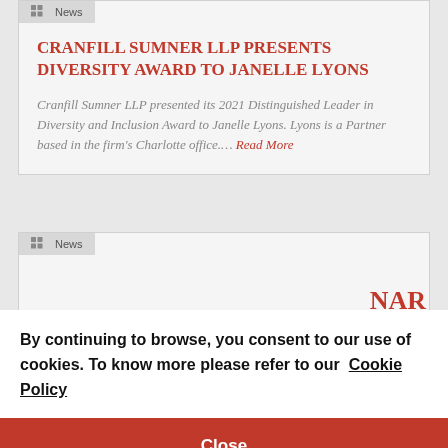News
CRANFILL SUMNER LLP PRESENTS DIVERSITY AWARD TO JANELLE LYONS
Cranfill Sumner LLP presented its 2021 Distinguished Leader in Diversity and Inclusion Award to Janelle Lyons. Lyons is a Partner based in the firm's Charlotte office…. Read More
News
NAR
nal t was
By continuing to browse, you consent to our use of cookies. To know more please refer to our Cookie Policy
Close
JANELLE LYONS TO PRESENT AT NBI HUMAN